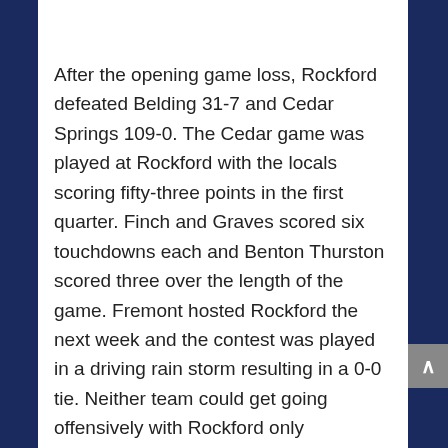After the opening game loss, Rockford defeated Belding 31-7 and Cedar Springs 109-0. The Cedar game was played at Rockford with the locals scoring fifty-three points in the first quarter. Finch and Graves scored six touchdowns each and Benton Thurston scored three over the length of the game. Fremont hosted Rockford the next week and the contest was played in a driving rain storm resulting in a 0-0 tie. Neither team could get going offensively with Rockford only threatening to score one time. On the final play of the game a Fremont player intercepted a pass and was tackled by Graves, Finch and Thurston just short of the goal line. Two of our players, Lyle Bennett, who was injured, and Charles VanDellan did not go to Fremont. VanDellan, who